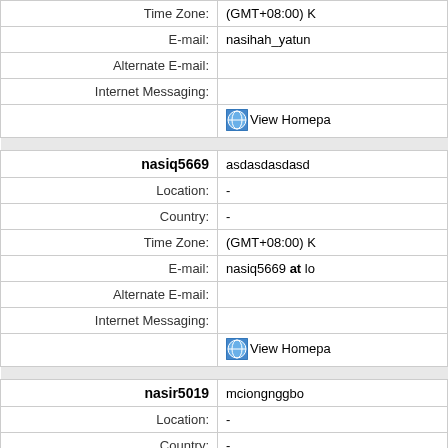| Time Zone: | (GMT+08:00) K |
| E-mail: | nasihah_yatun |
| Alternate E-mail: |  |
| Internet Messaging: |  |
|  | View Homepa |
|  |  |
| nasiq5669 | asdasdasdasd |
| Location: | - |
| Country: | - |
| Time Zone: | (GMT+08:00) K |
| E-mail: | nasiq5669 at lo |
| Alternate E-mail: |  |
| Internet Messaging: |  |
|  | View Homepa |
|  |  |
| nasir5019 | mciongnggbo |
| Location: | - |
| Country: | - |
| Time Zone: | (GMT+08:00) K |
| E-mail: | nasir5019 at... |